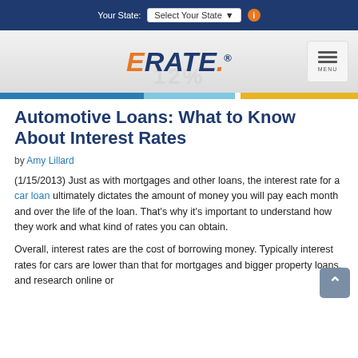Your State: Select Your State
[Figure (logo): ERATE logo with orange E and blue RATE text with orange dot, registered trademark symbol]
Automotive Loans: What to Know About Interest Rates
by Amy Lillard
(1/15/2013) Just as with mortgages and other loans, the interest rate for a car loan ultimately dictates the amount of money you will pay each month and over the life of the loan. That's why it's important to understand how they work and what kind of rates you can obtain.
Overall, interest rates are the cost of borrowing money. Typically interest rates for cars are lower than that for mortgages and bigger property loans, and research online or